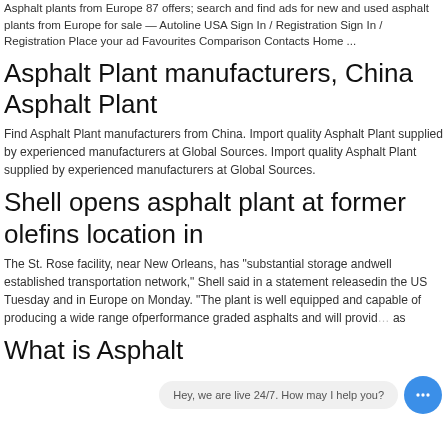Asphalt plants from Europe 87 offers; search and find ads for new and used asphalt plants from Europe for sale — Autoline USA Sign In / Registration Sign In / Registration Place your ad Favourites Comparison Contacts Home ...
Asphalt Plant manufacturers, China Asphalt Plant
Find Asphalt Plant manufacturers from China. Import quality Asphalt Plant supplied by experienced manufacturers at Global Sources. Import quality Asphalt Plant supplied by experienced manufacturers at Global Sources.
Shell opens asphalt plant at former olefins location in
The St. Rose facility, near New Orleans, has "substantial storage andwell established transportation network," Shell said in a statement releasedin the US Tuesday and in Europe on Monday. "The plant is well equipped and capable of producing a wide range ofperformance graded asphalts and will provid... as
What is Asphalt